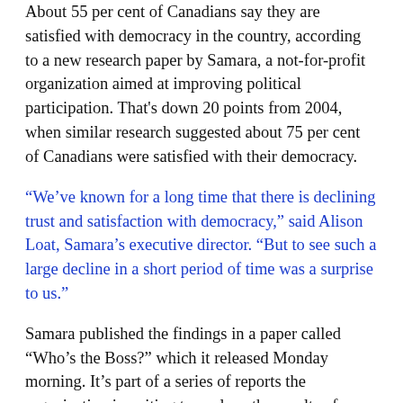About 55 per cent of Canadians say they are satisfied with democracy in the country, according to a new research paper by Samara, a not-for-profit organization aimed at improving political participation. That's down 20 points from 2004, when similar research suggested about 75 per cent of Canadians were satisfied with their democracy.
“We’ve known for a long time that there is declining trust and satisfaction with democracy,” said Alison Loat, Samara’s executive director. “But to see such a large decline in a short period of time was a surprise to us.”
Samara published the findings in a paper called “Who’s the Boss?” which it released Monday morning. It’s part of a series of reports the organization is writing to analyze the results of a wide-ranging democratic engagement survey it conducted earlier this year.
Monday’s report suggests that only 36 per cent of Canadians are satisfied with the way elected officials do their jobs. And